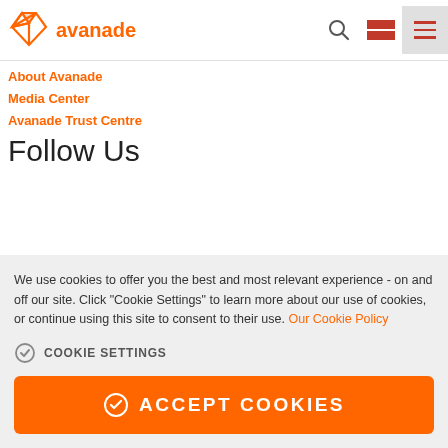[Figure (logo): Avanade logo — orange diamond/origami shape with 'avanade' text in orange]
About Avanade
Media Center
Avanade Trust Centre
Follow Us
We use cookies to offer you the best and most relevant experience - on and off our site. Click "Cookie Settings" to learn more about our use of cookies, or continue using this site to consent to their use. Our Cookie Policy
COOKIE SETTINGS
ACCEPT COOKIES